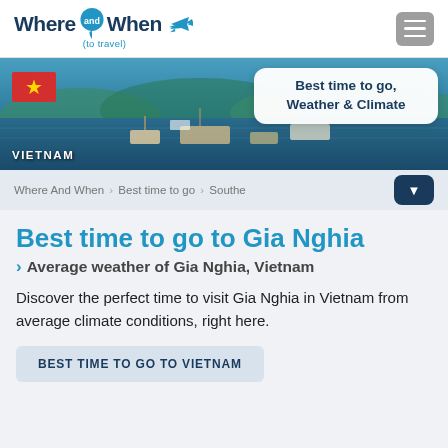Where and When (to travel)
[Figure (screenshot): Hero banner showing Vietnam harbor/bay with boats, Vietnamese flag, and a white card overlay reading 'Best time to go, Weather & Climate']
Where And When > Best time to go > Southe
Best time to go to Gia Nghia
Average weather of Gia Nghia, Vietnam
Discover the perfect time to visit Gia Nghia in Vietnam from average climate conditions, right here.
BEST TIME TO GO TO VIETNAM